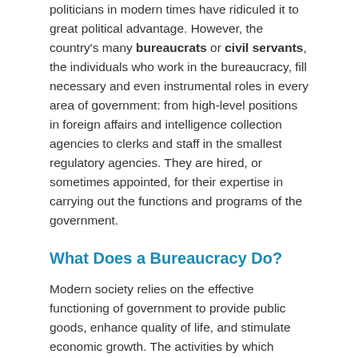politicians in modern times have ridiculed it to great political advantage. However, the country's many bureaucrats or civil servants, the individuals who work in the bureaucracy, fill necessary and even instrumental roles in every area of government: from high-level positions in foreign affairs and intelligence collection agencies to clerks and staff in the smallest regulatory agencies. They are hired, or sometimes appointed, for their expertise in carrying out the functions and programs of the government.
What Does a Bureaucracy Do?
Modern society relies on the effective functioning of government to provide public goods, enhance quality of life, and stimulate economic growth. The activities by which government achieves these functions include—but are not limited to—taxation, homeland security,